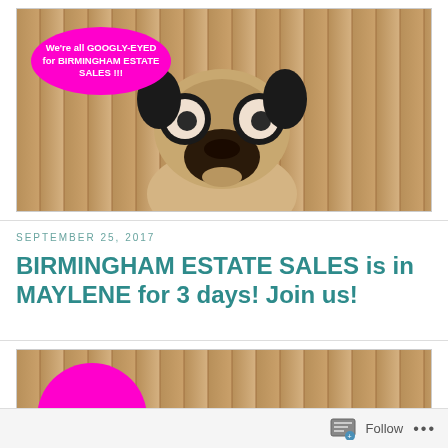[Figure (photo): Yellow background with a pug dog wearing googly-eye glasses in front of a wooden fence. A magenta/pink oval speech bubble in the upper left reads: We're all GOOGLY-EYED for BIRMINGHAM ESTATE SALES !!!]
SEPTEMBER 25, 2017
BIRMINGHAM ESTATE SALES is in MAYLENE for 3 days! Join us!
[Figure (photo): Partial image showing yellow background and wooden fence, with a magenta/pink half-circle shape visible at the bottom left, partially cropped.]
Follow ...